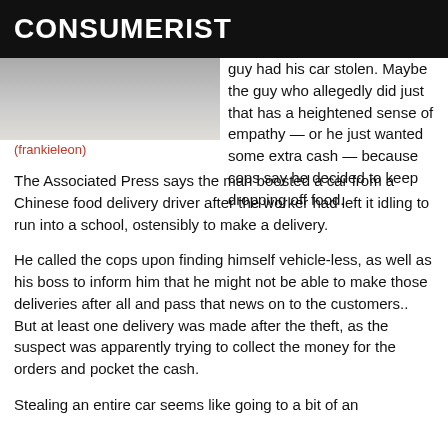CONSUMERIST
[Figure (photo): Partial photo, blurred/cropped image visible in upper left]
(frankieleon)
guy had his car stolen. Maybe the guy who allegedly did just that has a heightened sense of empathy — or he just wanted some extra cash — because cops say he decided to keep dropping off food.
The Associated Press says the man boosted a car from a Chinese food delivery driver after the worker had left it idling to run into a school, ostensibly to make a delivery.
He called the cops upon finding himself vehicle-less, as well as his boss to inform him that he might not be able to make those deliveries after all and pass that news on to the customers.. But at least one delivery was made after the theft, as the suspect was apparently trying to collect the money for the orders and pocket the cash.
Stealing an entire car seems like going to a bit of an